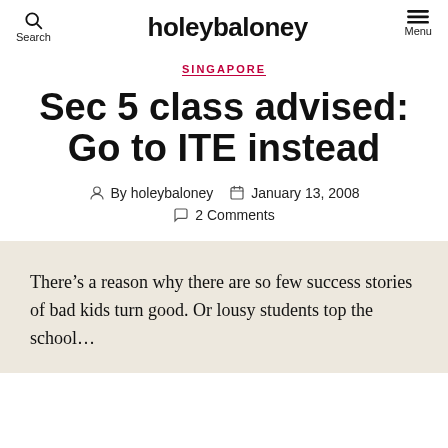holeybaloney
SINGAPORE
Sec 5 class advised: Go to ITE instead
By holeybaloney  January 13, 2008  2 Comments
There’s a reason why there are so few success stories of bad kids turn good. Or lousy students top the school…